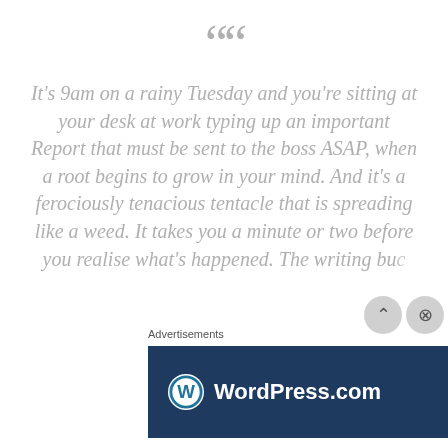““
It’s 9am on a rainy Tuesday and you’re sitting at your desk at work typing up an important Report that must be sent to the boss ASAP, when a root begins to grow in your mind. And it’s a ferociously tenacious tentacle that is spreading like a weed. It takes you a minute or two before you realise what’s happened. The writing buc...
Advertisements
[Figure (other): WordPress.com advertisement banner with dark navy background, WordPress logo on the left, and a pink 'Build Your Website' button on the right.]